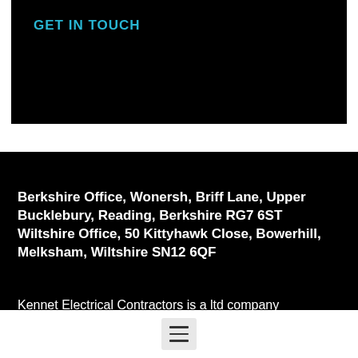GET IN TOUCH
Berkshire Office, Wonersh, Briff Lane, Upper Bucklebury, Reading, Berkshire RG7 6ST Wiltshire Office, 50 Kittyhawk Close, Bowerhill, Melksham, Wiltshire SN12 6QF
Kennet Electrical Contractors is a ltd company registered in England and Wales under Company Registration No. 6421706
[Figure (other): Hamburger menu icon button with three horizontal lines on a light grey background]